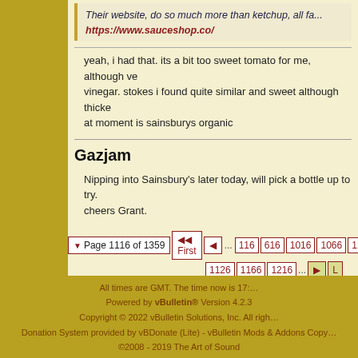Their website, do so much more than ketchup, all fa... https://www.sauceshop.co/
yeah, i had that. its a bit too sweet tomato for me, although ve... vinegar. stokes i found quite similar and sweet although thicke... at moment is sainsburys organic
Gazjam
Nipping into Sainsbury's later today, will pick a bottle up to try.. cheers Grant.
Page 1116 of 1359  First  ...  116  616  1016  1066  110... 1126  1166  1216  ...
All times are GMT. The time now is 17:... Powered by vBulletin® Version 4.2.3... Copyright © 2022 vBulletin Solutions, Inc. All righ... Donation System provided by vBDonate (Lite) - vBulletin Mods & Addons Copy... ©2008 - 2019 The Art of Sound